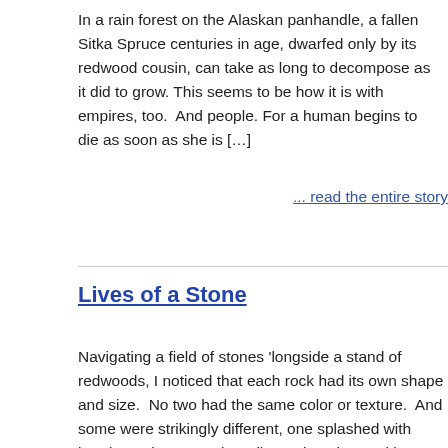In a rain forest on the Alaskan panhandle, a fallen Sitka Spruce centuries in age, dwarfed only by its redwood cousin, can take as long to decompose as it did to grow. This seems to be how it is with empires, too. And people. For a human begins to die as soon as she is […]
... read the entire story
Lives of a Stone
Navigating a field of stones 'longside a stand of redwoods, I noticed that each rock had its own shape and size. No two had the same color or texture. And some were strikingly different, one splashed with burning auburn, another glimmering ebony with marbleized turquoise veins. I fingered one, ran my dusty fingers over its […]